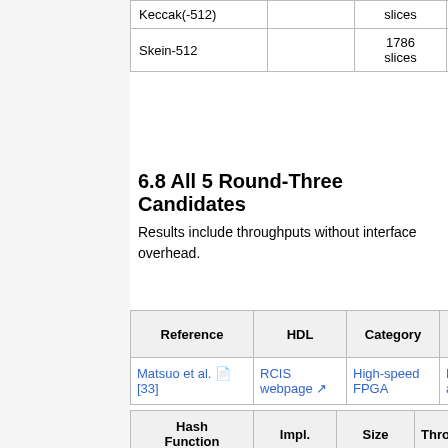| Algorithm |  | Size | Throughput |  |
| --- | --- | --- | --- | --- |
| Keccak(-512) |  | slices | 8318 Mbit/s |  |
| Skein-512 |  | 1786 slices | 1945 Mbit/s | 8 |
6.8 All 5 Round-Three Candidates
Results include throughputs without interface overhead.
| Reference | HDL | Category | Impl. Scope |
| --- | --- | --- | --- |
| Matsuo et al. [33] | RCIS webpage | High-speed FPGA | Fully autonomo... |
| Hash Function | Impl. | Size | Throughput |
| --- | --- | --- | --- |